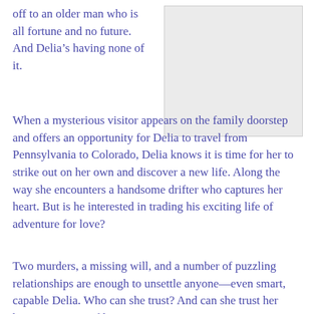off to an older man who is all fortune and no future. And Delia's having none of it.
[Figure (photo): A light gray rectangular image placeholder occupying the right column of the upper portion of the page.]
When a mysterious visitor appears on the family doorstep and offers an opportunity for Delia to travel from Pennsylvania to Colorado, Delia knows it is time for her to strike out on her own and discover a new life. Along the way she encounters a handsome drifter who captures her heart. But is he interested in trading his exciting life of adventure for love?
Two murders, a missing will, and a number of puzzling relationships are enough to unsettle anyone—even smart, capable Delia. Who can she trust? And can she trust her heart in matters of love?